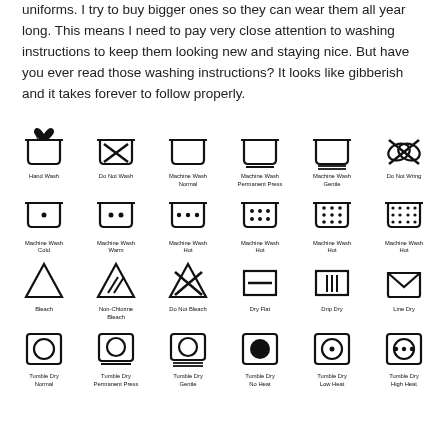uniforms. I try to buy bigger ones so they can wear them all year long. This means I need to pay very close attention to washing instructions to keep them looking new and staying nice. But have you ever read those washing instructions? It looks like gibberish and it takes forever to follow properly.
[Figure (infographic): Laundry care symbols chart with 4 rows of 6 icons each. Row 1: Hand Wash, Do Not Wash, Machine Wash Normal, Machine Wash Permanent Press, Machine Wash Gentle, Do Not Wring. Row 2: Machine Wash Cold, Machine Wash Warm, Machine Wash Hot (3 dots), Machine Wash Hot (6 dots), Machine Wash Hot (9 dots), Machine Wash Hot (12 dots). Row 3: Bleach, Non-Chlorine Bleach, Do Not Bleach, Dry Flat, Drip Dry, Line Dry. Row 4: Tumble Dry Normal, Tumble Dry Permanent Press, Tumble Dry Gentle, Tumble Dry No Heat, Tumble Dry Low Heat, Tumble Dry High Heat.]